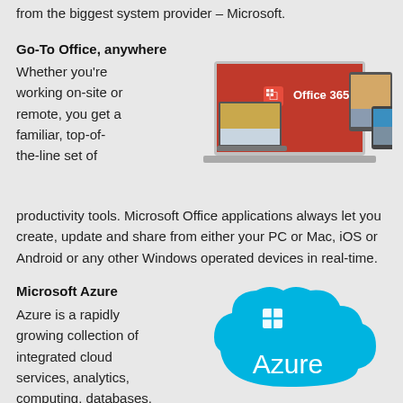from the biggest system provider – Microsoft.
Go-To Office, anywhere
Whether you're working on-site or remote, you get a familiar, top-of-the-line set of productivity tools. Microsoft Office applications always let you create, update and share from either your PC or Mac, iOS or Android or any other Windows operated devices in real-time.
[Figure (photo): Microsoft Office 365 shown on multiple devices including laptop, tablet, and smartphone]
Microsoft Azure
Azure is a rapidly growing collection of integrated cloud services, analytics, computing, databases, mobile, networking
[Figure (logo): Microsoft Azure logo — blue cloud with Windows logo icon and the word Azure in white text]